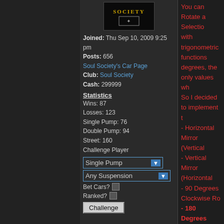[Figure (screenshot): Left dark sidebar column]
[Figure (logo): Soul Society logo/avatar image, dark background with gold text]
Joined: Thu Sep 10, 2009 9:25 pm
Posts: 656
Soul Society's Car Page
Club: Soul Society
Cash: 299999
Statistics
Wins: 87
Losses: 123
Single Pump: 76
Double Pump: 94
Street: 160
Challenge Player
Single Pump [dropdown]
Any Suspension [dropdown]
Bet Cars? [checkbox]
Ranked? [checkbox]
Challenge [button]
You can Rotate a Selection with trigonometric functions. degrees, the only values wh So I decided to implement th
- Horizontal Mirror (Vertical
- Vertical Mirror (Horizontal
- 90 Degrees Clockwise Ro
- 180 Degrees Rotate
- 270 Degrees Clockwise Ro
While coding, I discovered t
- First Diagonal Mirror
- Second Diagonal Mirror
I updated the Plugin!
1. Now it remembers the las
2. The OK and Cancel Butt automated on Button_Mous
3. Try to right-click! You'll se it too.
4. It supports Localization.
Site Moderator
[Figure (photo): Site Moderator avatar image with red/dark tone]